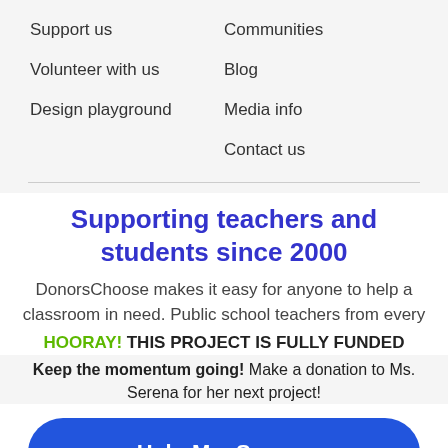Support us
Communities
Volunteer with us
Blog
Design playground
Media info
Contact us
Supporting teachers and students since 2000
DonorsChoose makes it easy for anyone to help a classroom in need. Public school teachers from every
HOORAY! THIS PROJECT IS FULLY FUNDED
Keep the momentum going! Make a donation to Ms. Serena for her next project!
Help Ms. Serena